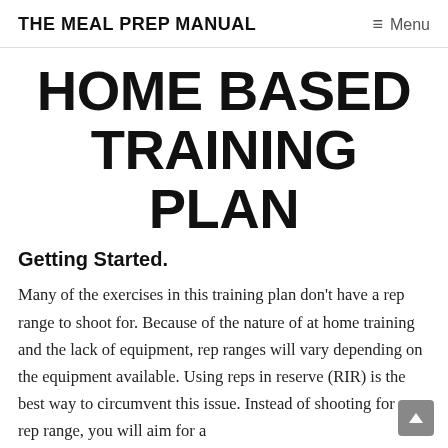THE MEAL PREP MANUAL    ≡ Menu
HOME BASED TRAINING PLAN
Getting Started.
Many of the exercises in this training plan don't have a rep range to shoot for. Because of the nature of at home training and the lack of equipment, rep ranges will vary depending on the equipment available. Using reps in reserve (RIR) is the best way to circumvent this issue. Instead of shooting for a rep range, you will aim for a